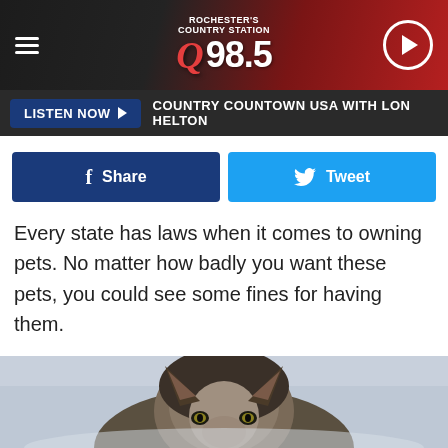Q 98.5 radio station header with logo and play button
LISTEN NOW ▶  COUNTRY COUNTOWN USA WITH LON HELTON
Share   Tweet
Every state has laws when it comes to owning pets. No matter how badly you want these pets, you could see some fines for having them.
[Figure (photo): A wolf walking in snow, photographed head-on, gray and brown fur, yellow eyes, snowy winter background]